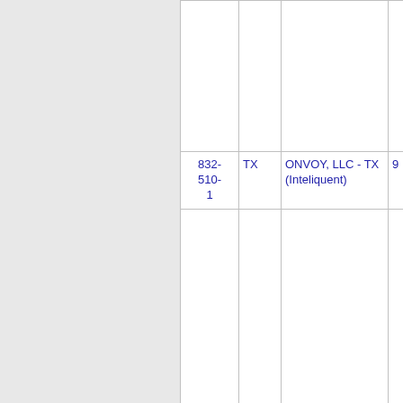| Number | State | Carrier | Extra |
| --- | --- | --- | --- |
|  |  |  |  |
| 832-510-1 | TX | ONVOY, LLC - TX (Inteliquent) | 9 |
|  |  |  |  |
| 832-510-2 | TX | ONVOY, LLC - TX (Inteliquent) | 9 |